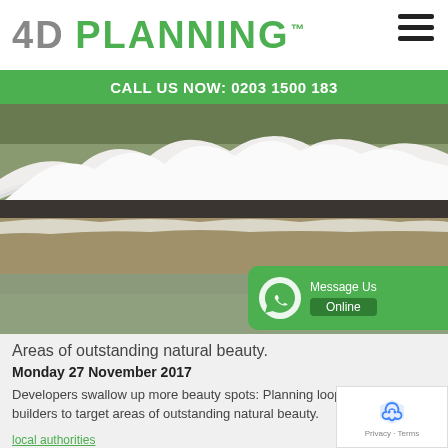4D PLANNING™
CALL US NOW: 0203 1500 183
[Figure (photo): Aerial view of white chalk cliffs (likely White Cliffs of Dover) with beach and sea below, viewed from above.]
Message Us Online
Areas of outstanding natural beauty.
Monday 27 November 2017
Developers swallow up more beauty spots: Planning loophole allows builders to target areas of outstanding natural beauty.
local authorities